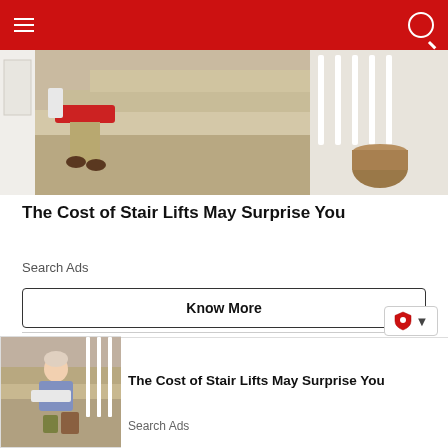[Figure (photo): Elderly person sitting on a stair lift on carpeted stairs in a home, wearing khaki pants and brown shoes. A wicker basket with items is visible at the bottom of the stairs.]
The Cost of Stair Lifts May Surprise You
Search Ads
Know More
[Figure (photo): Elderly man in a pink shirt smiling, standing near a staircase with white banisters in a home interior.]
[Figure (photo): Smaller thumbnail image of an elderly woman on a stair lift at the bottom of stairs.]
The Cost of Stair Lifts May Surprise You
Search Ads